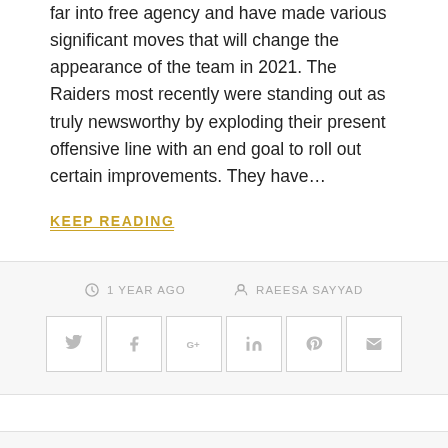far into free agency and have made various significant moves that will change the appearance of the team in 2021. The Raiders most recently were standing out as truly newsworthy by exploding their present offensive line with an end goal to roll out certain improvements. They have…
KEEP READING
1 YEAR AGO   RAEESA SAYYAD
[Figure (infographic): Six social media share buttons: Twitter, Facebook, Google+, LinkedIn, Pinterest, Email]
UNCATEGORIZED